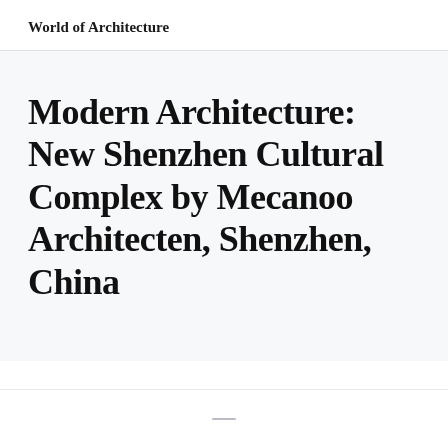World of Architecture
Modern Architecture: New Shenzhen Cultural Complex by Mecanoo Architecten, Shenzhen, China